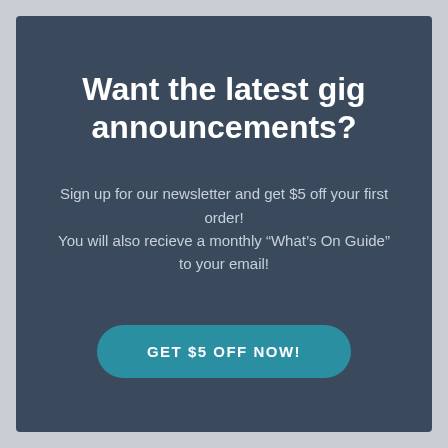Want the latest gig announcements?
Sign up for our newsletter and get $5 off your first order!
You will also recieve a monthly “What’s On Guide” to your email!
GET $5 OFF NOW!